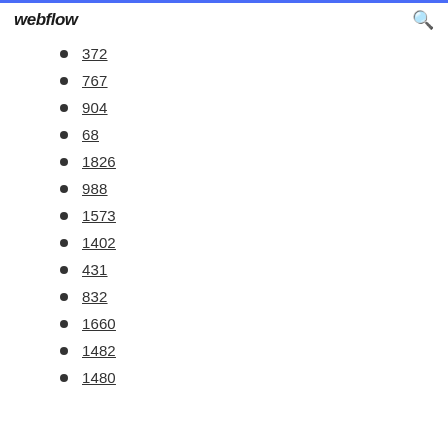webflow
372
767
904
68
1826
988
1573
1402
431
832
1660
1482
1480